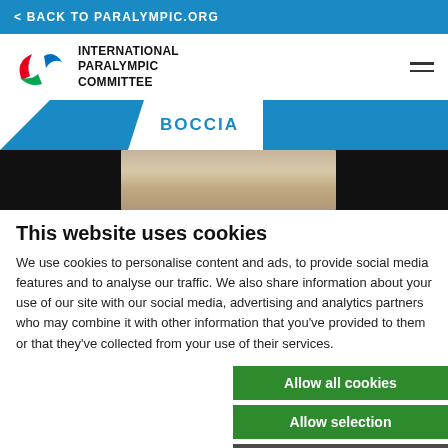< BACK TO PARALYMPIC.ORG
[Figure (logo): International Paralympic Committee logo with red, blue, green agito symbols and text INTERNATIONAL PARALYMPIC COMMITTEE]
BOCCIA
[Figure (photo): Hero banner photo showing a boccia athlete, partially visible, blurred background]
This website uses cookies
We use cookies to personalise content and ads, to provide social media features and to analyse our traffic. We also share information about your use of our site with our social media, advertising and analytics partners who may combine it with other information that you've provided to them or that they've collected from your use of their services.
Allow all cookies
Allow selection
Use necessary cookies o
essary  Preferences  Statistics  Marketing  Show details